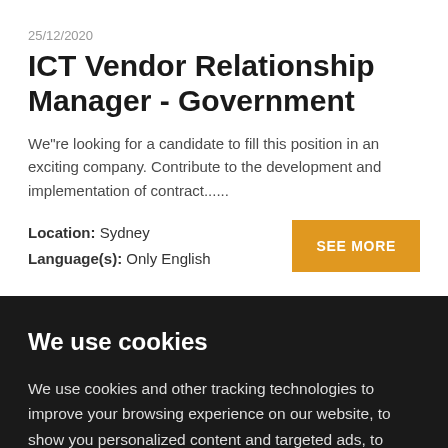25/12/2020
ICT Vendor Relationship Manager - Government
We"re looking for a candidate to fill this position in an exciting company. Contribute to the development and implementation of contract......
Location: Sydney
Language(s): Only English
We use cookies
We use cookies and other tracking technologies to improve your browsing experience on our website, to show you personalized content and targeted ads, to analyze our website traffic, and to